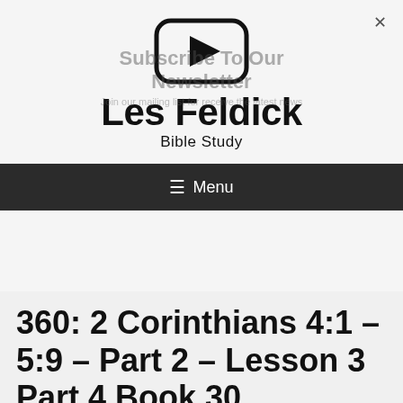[Figure (logo): Video play button icon — rounded rectangle with a triangle play symbol inside, black outline on light gray background]
Les Feldick
Bible Study
≡ Menu
Subscribe To Our Newsletter
Join our mailing list for receive the latest news
360: 2 Corinthians 4:1 – 5:9 – Part 2 – Lesson 3 Part 4 Book 30
December 26, 2018 by Thomas Bass